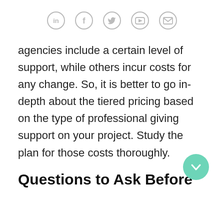Social media icons: LinkedIn, Facebook, Twitter, YouTube, Email
agencies include a certain level of support, while others incur costs for any change. So, it is better to go in-depth about the tiered pricing based on the type of professional giving support on your project. Study the plan for those costs thoroughly.
[Figure (illustration): Green circular scroll-down button with a downward arrow]
Questions to Ask Before